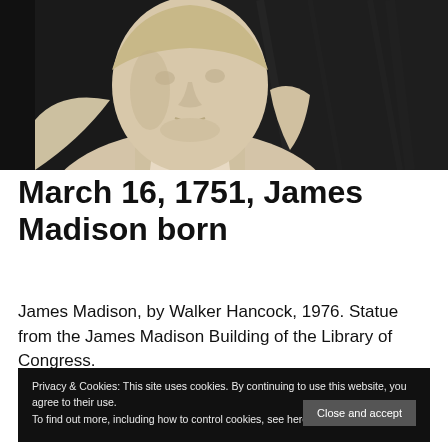[Figure (photo): Black and white / sepia photograph of a marble or stone bust sculpture of James Madison, by Walker Hancock, 1976, from the James Madison Building of the Library of Congress. The bust shows Madison's face and upper torso against a dark marble background.]
March 16, 1751, James Madison born
James Madison, by Walker Hancock, 1976. Statue from the James Madison Building of the Library of Congress.
Privacy & Cookies: This site uses cookies. By continuing to use this website, you agree to their use.
To find out more, including how to control cookies, see here: Cookie Policy